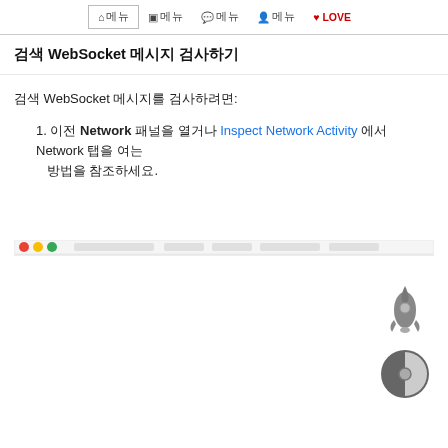홈 메뉴  글 메뉴  댓글 메뉴  사용자 메뉴  LOVE
검색 WebSocket 메시지 검사하기
검색 WebSocket 메시지를 검사하려면:
1. 이전 Network 패널을 열거나 Inspect Network Activity 에서 Network 탭을 여는방법을 참조하세요.
[Figure (screenshot): Browser DevTools Network panel screenshot showing a toolbar with colored dots (red, yellow, green) and filter/search controls]